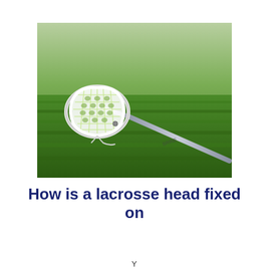[Figure (photo): A lacrosse stick with white mesh head lying on green grass, photographed from a low angle. The stick extends diagonally from lower right to upper left.]
How is a lacrosse head fixed on